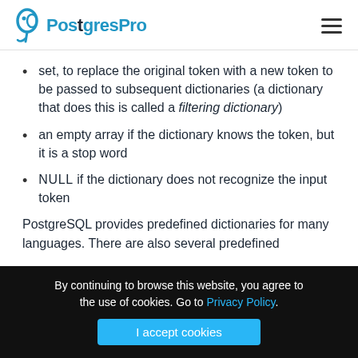PostgresPro
set, to replace the original token with a new token to be passed to subsequent dictionaries (a dictionary that does this is called a filtering dictionary)
an empty array if the dictionary knows the token, but it is a stop word
NULL if the dictionary does not recognize the input token
PostgreSQL provides predefined dictionaries for many languages. There are also several predefined
By continuing to browse this website, you agree to the use of cookies. Go to Privacy Policy.
I accept cookies